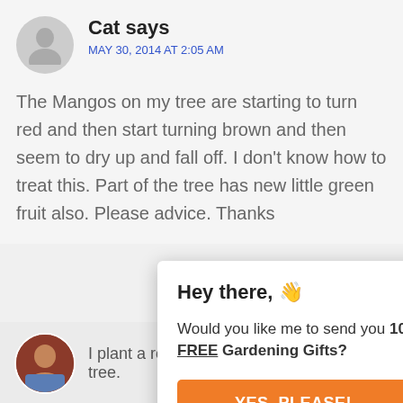Cat says
MAY 30, 2014 AT 2:05 AM
The Mangos on my tree are starting to turn red and then start turning brown and then seem to dry up and fall off. I don't know how to treat this. Part of the tree has new little green fruit also. Please advice. Thanks
Hey there, 👋
Would you like me to send you 10 FREE Gardening Gifts?
YES, PLEASE!
I plant a rock garden around an orange tree.